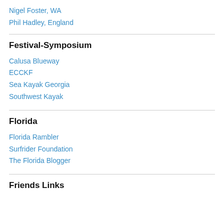Nigel Foster, WA
Phil Hadley, England
Festival-Symposium
Calusa Blueway
ECCKF
Sea Kayak Georgia
Southwest Kayak
Florida
Florida Rambler
Surfrider Foundation
The Florida Blogger
Friends Links